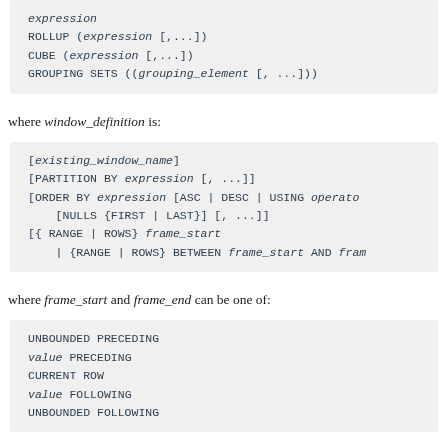expression
ROLLUP (expression [,...])
CUBE (expression [,...])
GROUPING SETS ((grouping_element [, ...]))
where window_definition is:
[existing_window_name]
[PARTITION BY expression [, ...]]
[ORDER BY expression [ASC | DESC | USING operato
    [NULLS {FIRST | LAST}] [, ...]]
[{ RANGE | ROWS} frame_start
    | {RANGE | ROWS} BETWEEN frame_start AND fram
where frame_start and frame_end can be one of:
UNBOUNDED PRECEDING
value PRECEDING
CURRENT ROW
value FOLLOWING
UNBOUNDED FOLLOWING